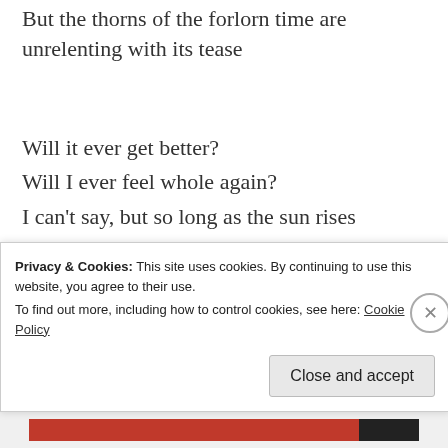But the thorns of the forlorn time are unrelenting with its tease
Will it ever get better?
Will I ever feel whole again?
I can't say, but so long as the sun rises
So will I!
Kenneth Nwajagu
Privacy & Cookies: This site uses cookies. By continuing to use this website, you agree to their use.
To find out more, including how to control cookies, see here: Cookie Policy
Close and accept